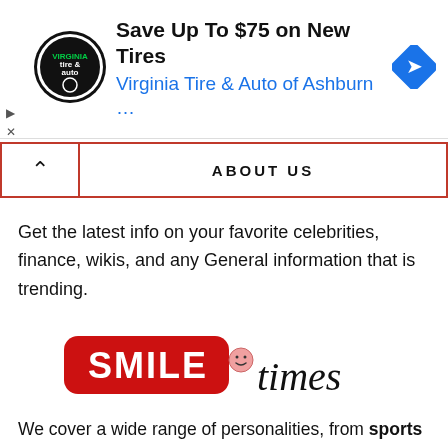[Figure (infographic): Advertisement banner for Virginia Tire & Auto of Ashburn showing logo, headline 'Save Up To $75 on New Tires', subtext 'Virginia Tire & Auto of Ashburn …', and a blue directional arrow icon on the right.]
ABOUT US
Get the latest info on your favorite celebrities, finance, wikis, and any General information that is trending.
[Figure (logo): Smile Times logo: red rounded rectangle with white bold text 'SMILE', followed by handwritten-style 'times' in black with a small smiley face icon.]
We cover a wide range of personalities, from sports personalities, Journalists, Musicians, Actor/Actress, business owners, trending personalities, News anchors, Political commenters, Tiktokers, Instagramers, Youtubers, Influencers,